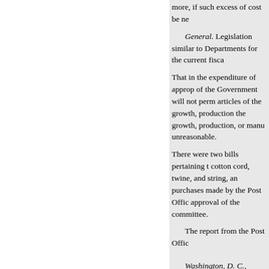more, if such excess of cost be ne
General. Legislation similar to Departments for the current fisca
That in the expenditure of approp of the Government will not perm articles of the growth, production the growth, production, or manu unreasonable.
There were two bills pertaining t cotton cord, twine, and string, an purchases made by the Post Offic approval of the committee.
The report from the Post Offic
Washington, D. C., January 19
House of Representatives. MY letter of January 14, transmitting department's views concerning th
H. R. 4664 would confine the the use of domestic products, yet